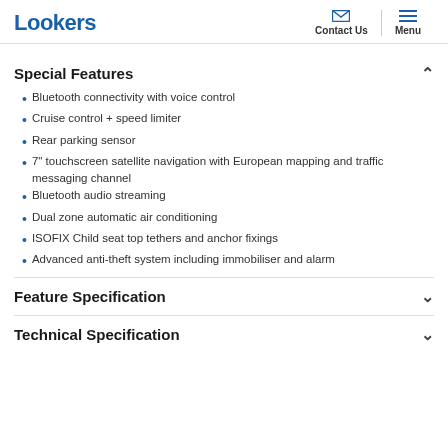Lookers | Contact Us | Menu
Special Features
Bluetooth connectivity with voice control
Cruise control + speed limiter
Rear parking sensor
7" touchscreen satellite navigation with European mapping and traffic messaging channel
Bluetooth audio streaming
Dual zone automatic air conditioning
ISOFIX Child seat top tethers and anchor fixings
Advanced anti-theft system including immobiliser and alarm
Feature Specification
Technical Specification